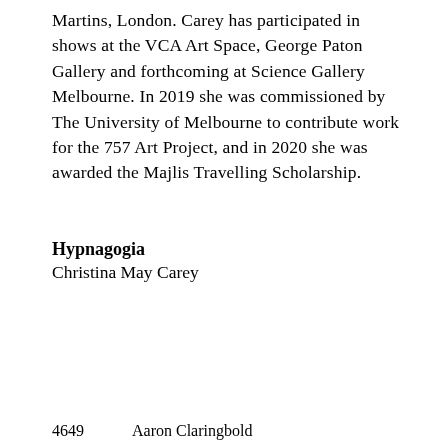Martins, London. Carey has participated in shows at the VCA Art Space, George Paton Gallery and forthcoming at Science Gallery Melbourne. In 2019 she was commissioned by The University of Melbourne to contribute work for the 757 Art Project, and in 2020 she was awarded the Majlis Travelling Scholarship.
Hypnagogia
Christina May Carey
4649      Aaron Claringbold